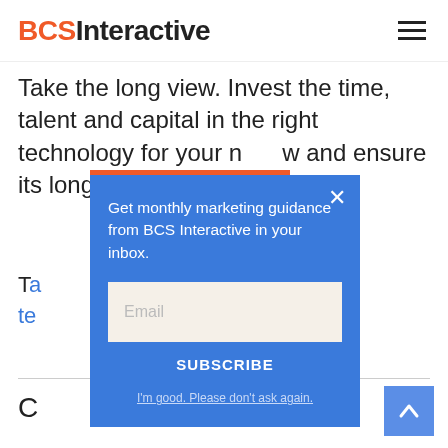BCS Interactive
Take the long view. Invest the time, talent and capital in the right technology for your n[...] and ensure its long-term s[...]
SIGN UP
T[...] profit te[...] map
[Figure (screenshot): Email subscription popup modal with blue background showing 'Get monthly marketing guidance from BCS Interactive in your inbox.' with an email input field, SUBSCRIBE button, and 'I'm good. Please don't ask again.' dismiss link. An X close button is at top right of the modal.]
C